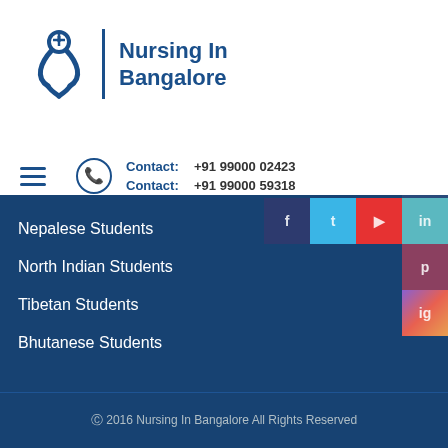[Figure (logo): Nursing In Bangalore logo with a nurse/ribbon icon in blue and text 'Nursing In Bangalore']
Contact: +91 99000 02423
Contact: +91 99000 59318
Nepalese Students
North Indian Students
Tibetan Students
Bhutanese Students
© 2016 Nursing In Bangalore All Rights Reserved